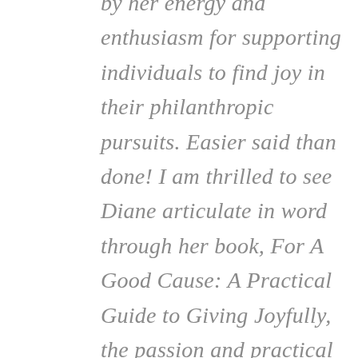by her energy and enthusiasm for supporting individuals to find joy in their philanthropic pursuits. Easier said than done! I am thrilled to see Diane articulate in word through her book, For A Good Cause: A Practical Guide to Giving Joyfully, the passion and practical steps anyone can take to embrace the sentiment of joyful philanthropy.